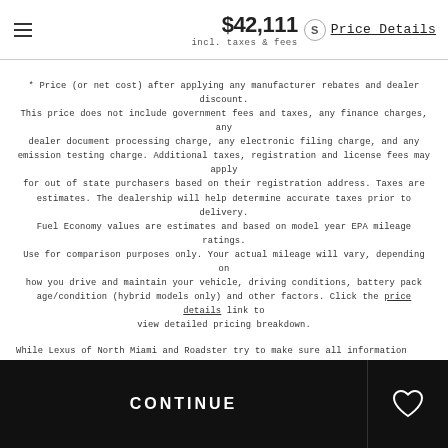$42,111 incl. taxes & fees  Price Details
* Price (or net cost) after applying any manufacturer rebates and dealer discount. This price does not include government fees and taxes, any finance charges, any dealer document processing charge, any electronic filing charge, and any emission testing charge. Additional taxes, registration and license fees may apply for out of state purchasers based on their registration address. Taxes are estimates. The dealership will help determine accurate taxes prior to delivery. Fuel Economy values are estimates and based on model year EPA mileage ratings. Use for comparison purposes only. Your actual mileage will vary, depending on how you drive and maintain your vehicle, driving conditions, battery pack age/condition (hybrid models only) and other factors. Click the price details link to view detailed pricing breakdown.
While Lexus of North Miami and Roadster try to make sure all information posted
CONTINUE